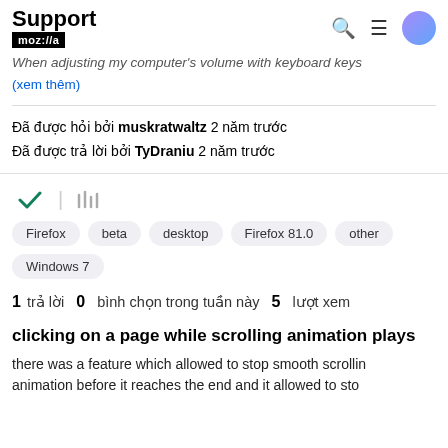Support mozilla:a
When adjusting my computer's volume with keyboard keys
(xem thêm)
Đã được hỏi bởi muskratwaltz 2 năm trước
Đã được trả lời bởi TyDraniu 2 năm trước
Firefox  beta  desktop  Firefox 81.0  other  Windows 7
1 trả lời   0 bình chọn trong tuần này   5 lượt xem
clicking on a page while scrolling animation plays
there was a feature which allowed to stop smooth scrolling animation before it reaches the end and it allowed to sto